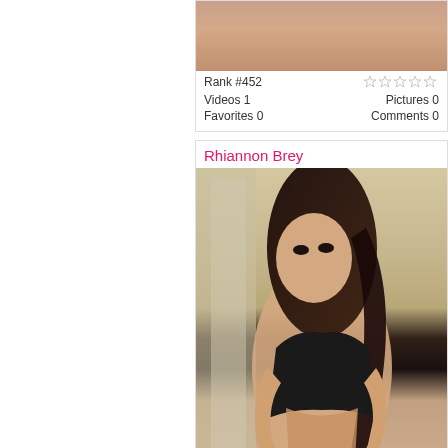[Figure (photo): Cropped close-up photo showing skin/chest area]
Rank #452
Videos 1
Favorites 0
Pictures 0
Comments 0
Rhiannon Brey
[Figure (photo): Photo of a woman named Rhiannon Brey with dark hair, wearing a black top, posing]